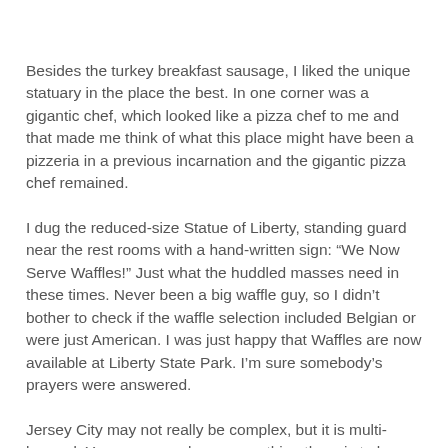Besides the turkey breakfast sausage, I liked the unique statuary in the place the best. In one corner was a gigantic chef, which looked like a pizza chef to me and that made me think of what this place might have been a pizzeria in a previous incarnation and the gigantic pizza chef remained.
I dug the reduced-size Statue of Liberty, standing guard near the rest rooms with a hand-written sign: “We Now Serve Waffles!” Just what the huddled masses need in these times. Never been a big waffle guy, so I didn’t bother to check if the waffle selection included Belgian or were just American. I was just happy that Waffles are now available at Liberty State Park. I’m sure somebody’s prayers were answered.
Jersey City may not really be complex, but it is multi-layered. You can never know everything there is to know about Jersey City, no matter how long you’ve lived here. It’s a great diner and obviously has been there a while.